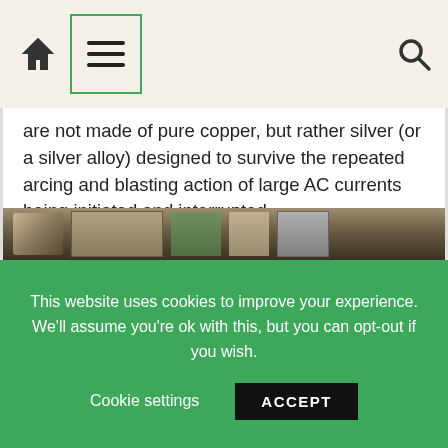Navigation bar with home, menu, and search icons
are not made of pure copper, but rather silver (or a silver alloy) designed to survive the repeated arcing and blasting action of large AC currents being initiated and interrupted.
Below the main power connection terminals (L1-L3, T1-T3) on this contactor hide two small screw terminals (commonly denoted A1 and A2) providing connection points to the electromagnet coil actuating the contactor:
[Figure (photo): Close-up photo of an electrical contactor showing power connection terminals and screw terminals]
This website uses cookies to improve your experience. We'll assume you're ok with this, but you can opt-out if you wish.
Cookie settings  ACCEPT